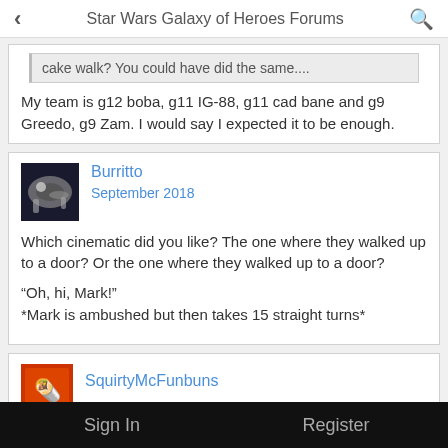Star Wars Galaxy of Heroes Forums
cake walk? You could have did the same....
My team is g12 boba, g11 IG-88, g11 cad bane and g9 Greedo, g9 Zam. I would say I expected it to be enough.
Burritto
September 2018
Which cinematic did you like? The one where they walked up to a door? Or the one where they walked up to a door?

"Oh, hi, Mark!"
*Mark is ambushed but then takes 15 straight turns*
SquirtyMcFunbuns
Sign In   Register